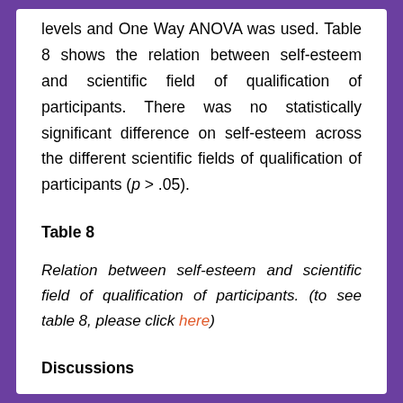levels and One Way ANOVA was used. Table 8 shows the relation between self-esteem and scientific field of qualification of participants. There was no statistically significant difference on self-esteem across the different scientific fields of qualification of participants (p > .05).
Table 8
Relation between self-esteem and scientific field of qualification of participants. (to see table 8, please click here)
Discussions